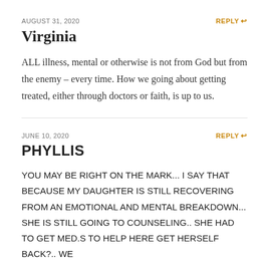AUGUST 31, 2020
REPLY
Virginia
ALL illness, mental or otherwise is not from God but from the enemy – every time. How we going about getting treated, either through doctors or faith, is up to us.
JUNE 10, 2020
REPLY
PHYLLIS
YOU MAY BE RIGHT ON THE MARK... I SAY THAT BECAUSE MY DAUGHTER IS STILL RECOVERING FROM AN EMOTIONAL AND MENTAL BREAKDOWN... SHE IS STILL GOING TO COUNSELING.. SHE HAD TO GET MED.S TO HELP HERE GET HERSELF BACK?.. WE